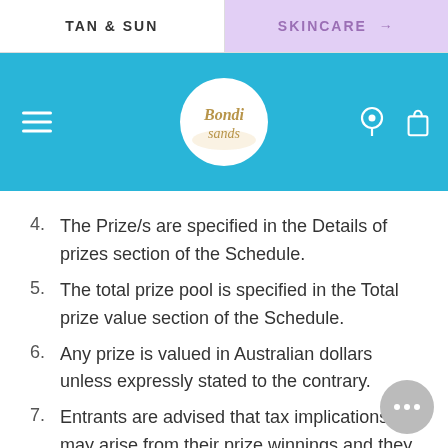TAN & SUN | SKINCARE →
[Figure (logo): Bondi Sands logo in a white circle on a blue navigation header bar, with hamburger menu on the left, location pin and shopping bag icons on the right]
4. The Prize/s are specified in the Details of prizes section of the Schedule.
5. The total prize pool is specified in the Total prize value section of the Schedule.
6. Any prize is valued in Australian dollars unless expressly stated to the contrary.
7. Entrants are advised that tax implications may arise from their prize winnings and they should seek independent financial advice prior to acceptance of their prize(s). The Promoter